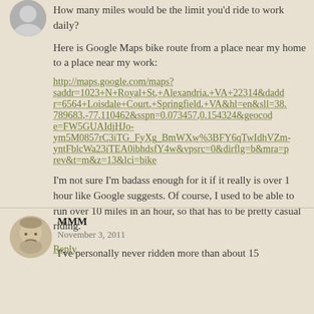How many miles would be the limit you'd ride to work daily?
Here is Google Maps bike route from a place near my home to a place near my work:
http://maps.google.com/maps?saddr=1023+N+Royal+St,+Alexandria,+VA+22314&daddr=6564+Loisdale+Court,+Springfield,+VA&hl=en&sll=38.789683,-77.110462&sspn=0.073457,0.154324&geocode=FW5GUAIdjHJo-ym5M0857rC3iTG_FyXg_BmWXw%3BFY6qTwIdhVZm-yntFblcWa23iTEA0ibhdsfY4w&vpsrc=0&dirflg=b&mra=prev&t=m&z=13&lci=bike
I'm not sure I'm badass enough for it if it really is over 1 hour like Google suggests. Of course, I used to be able to run over 10 miles in an hour, so that has to be pretty casual riding.
Reply
MMM
November 3, 2011
I've personally never ridden more than about 15